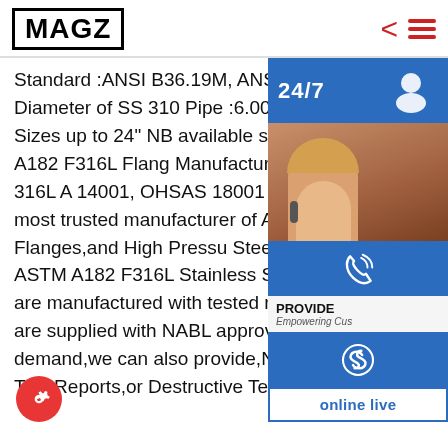MAGZ
Standard :ANSI B36.19M, ANSI B36.10. Outside Diameter of SS 310 Pipe :6.00 mm OD mm OD, Sizes up to 24” NB available stocksp.info ASTM A182 F316L Flange Manufacturer, Stainless Steel 316L A 14001, OHSAS 18001 Certified Compa most trusted manufacturer of ASME Socket Weld Flanges,and High Pressu Steel 316L. All our ASTM A182 F316L Stainless Steel Pipe Flanges are manufactured with tested raw materials and are supplied with NABL approved lab t ports.On demand,we can also provide,Non Destructive Test Reports,or Destructive Test
[Figure (infographic): Customer support widget panel on right side: 24/7 bar in blue, customer service representative photo, headset icon button, PROVIDE Empowering Customers bar, phone/call icon button, Skype icon button, online live button in blue outline]